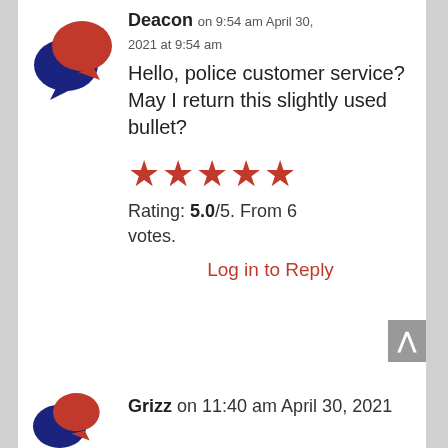[Figure (illustration): Two speech bubble icons overlapping — a dark blue bubble behind and a red bubble in front]
Deacon on 9:54 am April 30, 2021 at 9:54 am
Hello, police customer service? May I return this slightly used bullet?
[Figure (illustration): Five red filled star icons representing a 5-star rating]
Rating: 5.0/5. From 6 votes.
Log in to Reply
[Figure (illustration): Two speech bubble icons overlapping — partially visible at bottom]
Grizz on 11:40 am April 30, 2021